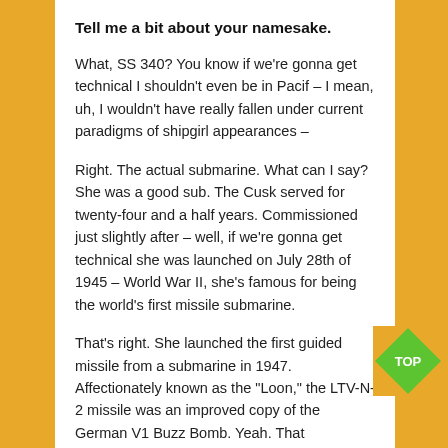Tell me a bit about your namesake.
What, SS 340? You know if we're gonna get technical I shouldn't even be in Pacif – I mean, uh, I wouldn't have really fallen under current paradigms of shipgirl appearances –
Right. The actual submarine. What can I say? She was a good sub. The Cusk served for twenty-four and a half years. Commissioned just slightly after – well, if we're gonna get technical she was launched on July 28th of 1945 – World War II, she's famous for being the world's first missile submarine.
That's right. She launched the first guided missile from a submarine in 1947. Affectionately known as the "Loon," the LTV-N-2 missile was an improved copy of the German V1 Buzz Bomb. Yeah. That
[Figure (illustration): Green diamond/rhombus badge with the text TOP in white bold letters]